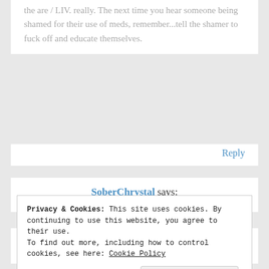the are / LIV. really. The next time you hear someone being shamed for their use of meds, remember...tell the shamer to fuck off and educate themselves.
Reply
SoberChrystal says:
January 15, 2016 at 10:15 am
Word. Thank you, Stacey! I love you too! This movement...
Privacy & Cookies: This site uses cookies. By continuing to use this website, you agree to their use.
To find out more, including how to control cookies, see here: Cookie Policy
Close and accept